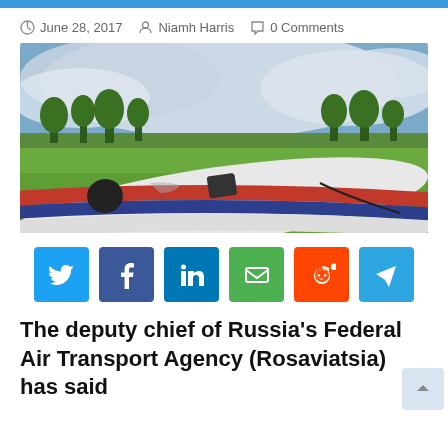June 28, 2017   Niamh Harris   0 Comments
[Figure (photo): Wreckage of MH17 aircraft fuselage lying in a green field under a cloudy sky. The fuselage section shows the red and blue livery of Malaysia Airlines with a circular window opening visible.]
[Figure (infographic): Social sharing buttons: Twitter (blue), Facebook (dark blue), LinkedIn (blue), Email (green), Reddit (orange-red), Telegram (blue)]
The deputy chief of Russia's Federal Air Transport Agency (Rosaviatsia) has said